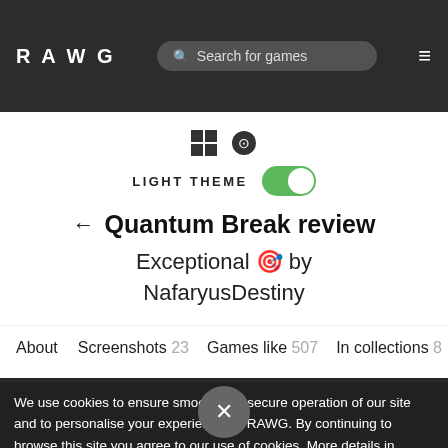RAWG  Search for games  ≡
[Figure (screenshot): Platform icons: Windows and Xbox logos]
LIGHT THEME (toggle on)
Quantum Break review
Exceptional 🎯 by NafaryusDestiny
About  Screenshots 23  Games like 507  In collections 8
We use cookies to ensure smooth and secure operation of our site and to personalise your experience on RAWG. By continuing to browse this site you agree to our use of cookies. More details in Cookies Policy.
The opening line of Quantum Break instantly grabbed my attention. The fantastic cast attention to detail cemented it. I hope we see more experimental media like this in the future as the genre evolves.